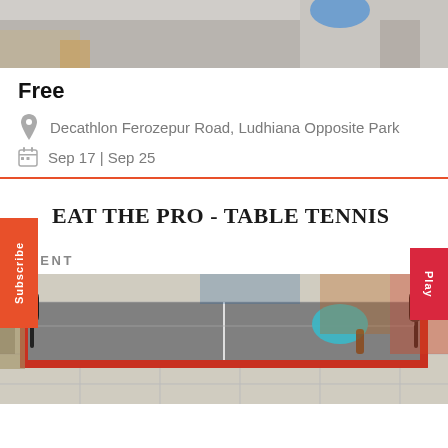[Figure (photo): Top portion of a photo showing people at an event, partially cropped]
Free
Decathlon Ferozepur Road, Ludhiana Opposite Park
Sep 17 | Sep 25
EAT THE PRO - TABLE TENNIS
EVENT
[Figure (photo): Photo of a table tennis table with net and paddles inside a Decathlon store]